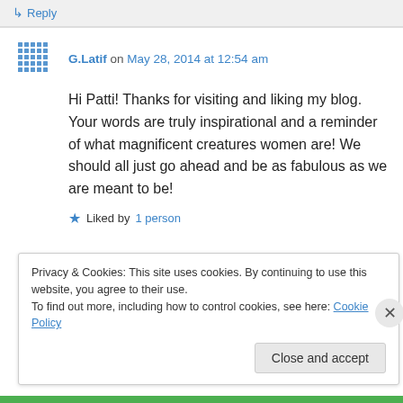↳ Reply
G.Latif on May 28, 2014 at 12:54 am
Hi Patti! Thanks for visiting and liking my blog. Your words are truly inspirational and a reminder of what magnificent creatures women are! We should all just go ahead and be as fabulous as we are meant to be!
★ Liked by 1 person
Privacy & Cookies: This site uses cookies. By continuing to use this website, you agree to their use. To find out more, including how to control cookies, see here: Cookie Policy
Close and accept